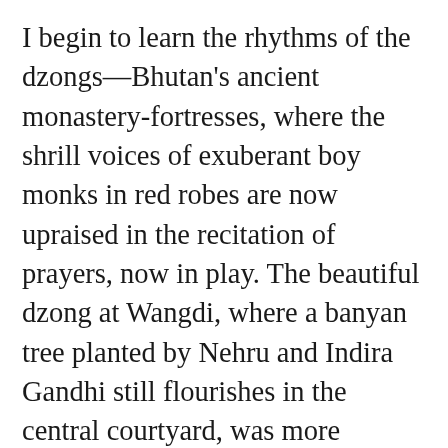I begin to learn the rhythms of the dzongs—Bhutan's ancient monastery-fortresses, where the shrill voices of exuberant boy monks in red robes are now upraised in the recitation of prayers, now in play. The beautiful dzong at Wangdi, where a banyan tree planted by Nehru and Indira Gandhi still flourishes in the central courtyard, was more monastery than fortress. The majestic, ship-like dzong at Punakha affectionately dubbed the Titanic by locals still retains the imprint of wars fought long ago; Paro's awe-inspiring dzong commands